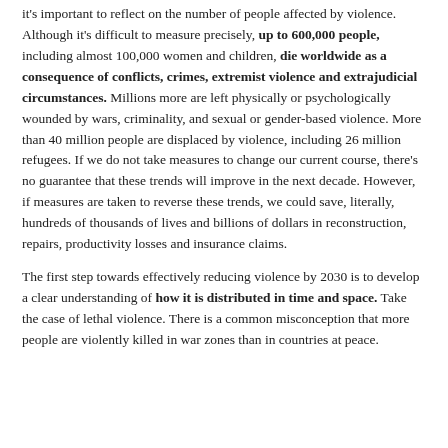it's important to reflect on the number of people affected by violence. Although it's difficult to measure precisely, up to 600,000 people, including almost 100,000 women and children, die worldwide as a consequence of conflicts, crimes, extremist violence and extrajudicial circumstances. Millions more are left physically or psychologically wounded by wars, criminality, and sexual or gender-based violence. More than 40 million people are displaced by violence, including 26 million refugees. If we do not take measures to change our current course, there's no guarantee that these trends will improve in the next decade. However, if measures are taken to reverse these trends, we could save, literally, hundreds of thousands of lives and billions of dollars in reconstruction, repairs, productivity losses and insurance claims.
The first step towards effectively reducing violence by 2030 is to develop a clear understanding of how it is distributed in time and space. Take the case of lethal violence. There is a common misconception that more people are violently killed in war zones than in countries at peace.